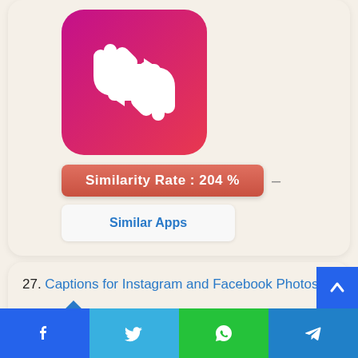[Figure (illustration): App icon with pink-magenta gradient background and white repost/retweet arrows symbol, rounded square shape]
Similarity Rate : 204 %
Similar Apps
27. Captions for Instagram and Facebook Photos
[Figure (illustration): Blue house/home icon]
Facebook share | Twitter share | WhatsApp share | Telegram share